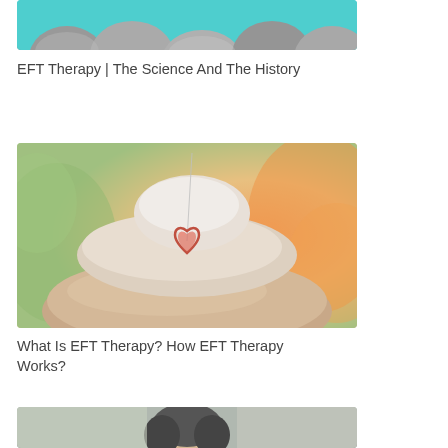[Figure (photo): Cropped top portion of a photo showing grey/dark rounded stones on a teal/blue background]
EFT Therapy | The Science And The History
[Figure (photo): Stacked smooth zen stones with a heart-shaped pendant necklace resting on them, warm bokeh background]
What Is EFT Therapy? How EFT Therapy Works?
[Figure (photo): Partial bottom image cropped, showing beginning of another photo]